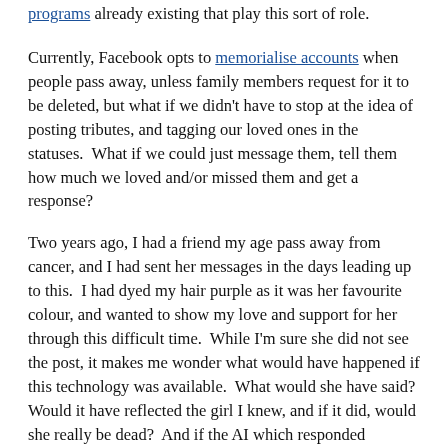programs already existing that play this sort of role.
Currently, Facebook opts to memorialise accounts when people pass away, unless family members request for it to be deleted, but what if we didn't have to stop at the idea of posting tributes, and tagging our loved ones in the statuses. What if we could just message them, tell them how much we loved and/or missed them and get a response?
Two years ago, I had a friend my age pass away from cancer, and I had sent her messages in the days leading up to this. I had dyed my hair purple as it was her favourite colour, and wanted to show my love and support for her through this difficult time. While I'm sure she did not see the post, it makes me wonder what would have happened if this technology was available. What would she have said? Would it have reflected the girl I knew, and if it did, would she really be dead? And if the AI which responded evolved over time based on conversations, would she still be the same person as when